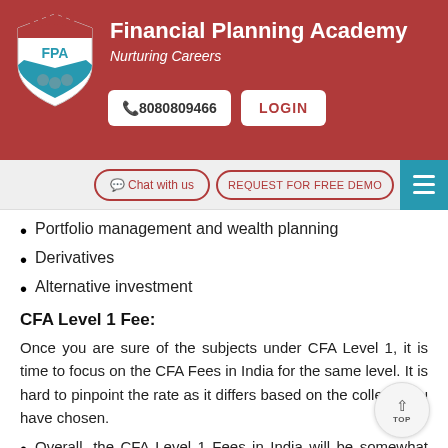[Figure (logo): Financial Planning Academy shield logo with FPA letters]
Financial Planning Academy
Nurturing Careers
📞8080809466
LOGIN
🗨 Chat with us
REQUEST FOR FREE DEMO
Portfolio management and wealth planning
Derivatives
Alternative investment
CFA Level 1 Fee:
Once you are sure of the subjects under CFA Level 1, it is time to focus on the CFA Fees in India for the same level. It is hard to pinpoint the rate as it differs based on the college you have chosen.
Overall, the CFA Level 1 Fees in India will be somewhat around 33,722 rupees as the enrolment fee.
Then you have to pay around 52 456 rupees as an early registration fee.
Under the standard registration fee, you need to spend